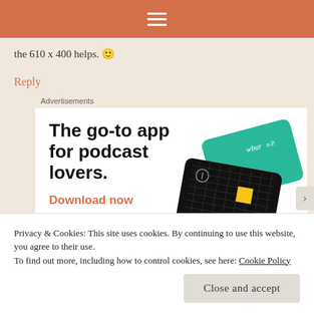≡
the 610 x 400 helps. 🙂
Reply
Advertisements
[Figure (illustration): Advertisement for a podcast app showing bold text 'The go-to app for podcast lovers.' with 'Download now' CTA and podcast app cards illustration on the right side]
Privacy & Cookies: This site uses cookies. By continuing to use this website, you agree to their use.
To find out more, including how to control cookies, see here: Cookie Policy
Close and accept